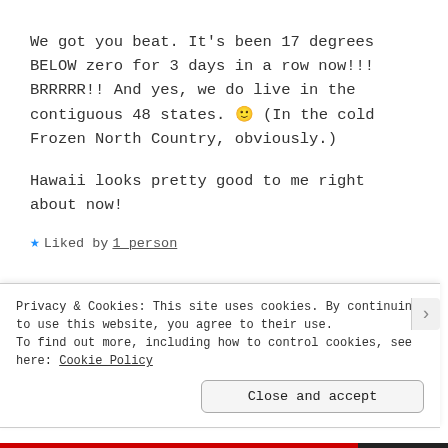We got you beat. It's been 17 degrees BELOW zero for 3 days in a row now!!! BRRRRR!! And yes, we do live in the contiguous 48 states. 🙂 (In the cold Frozen North Country, obviously.)
Hawaii looks pretty good to me right about now!
★ Liked by 1 person
Privacy & Cookies: This site uses cookies. By continuing to use this website, you agree to their use. To find out more, including how to control cookies, see here: Cookie Policy
Close and accept